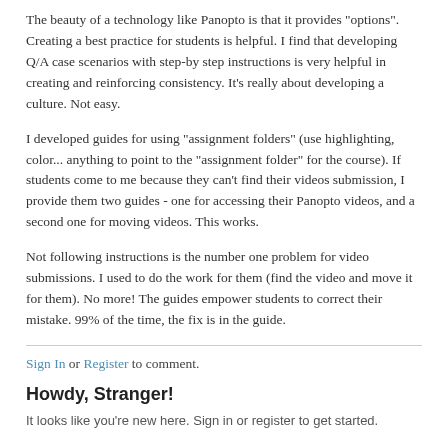The beauty of a technology like Panopto is that it provides "options". Creating a best practice for students is helpful. I find that developing Q/A case scenarios with step-by step instructions is very helpful in creating and reinforcing consistency. It's really about developing a culture. Not easy.
I developed guides for using "assignment folders" (use highlighting, color... anything to point to the "assignment folder" for the course). If students come to me because they can't find their videos submission, I provide them two guides - one for accessing their Panopto videos, and a second one for moving videos. This works.
Not following instructions is the number one problem for video submissions. I used to do the work for them (find the video and move it for them). No more! The guides empower students to correct their mistake. 99% of the time, the fix is in the guide.
Sign In or Register to comment.
Howdy, Stranger!
It looks like you're new here. Sign in or register to get started.